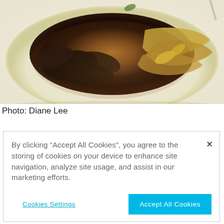[Figure (photo): A plate of Asian food — black fungus, tofu skin, baby corn, and various braised/stewed ingredients on a white plate with brown sauce, photographed from above on a light background.]
Photo: Diane Lee
By clicking “Accept All Cookies”, you agree to the storing of cookies on your device to enhance site navigation, analyze site usage, and assist in our marketing efforts.
Cookies Settings
Accept All Cookies